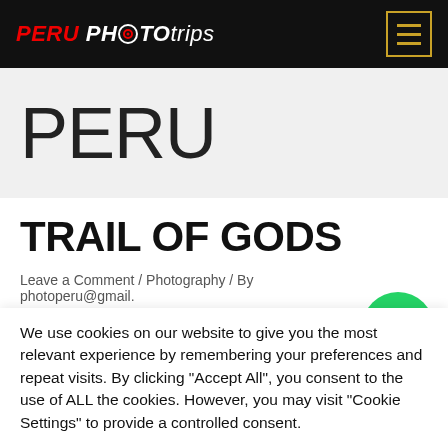PERU PHOTO trips
PERU
TRAIL OF GODS
Leave a Comment / Photography / By photoneru@gmail.
[Figure (logo): WhatsApp green circle chat bubble icon]
We use cookies on our website to give you the most relevant experience by remembering your preferences and repeat visits. By clicking “Accept All”, you consent to the use of ALL the cookies. However, you may visit “Cookie Settings” to provide a controlled consent.
Cookie Settings | Accept All